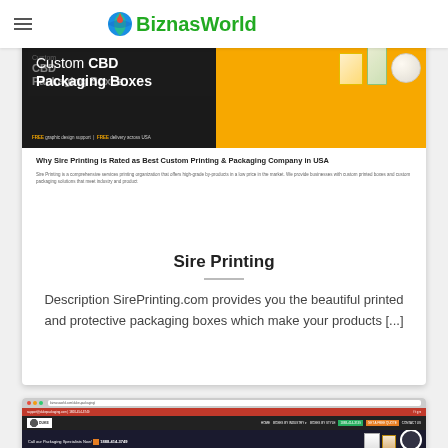BiznasWorld
[Figure (screenshot): Screenshot of Sire Printing website showing Custom CBD Packaging Boxes page with orange and black design, product images, and article preview 'Why Sire Printing is Rated as Best Custom Printing & Packaging Company in USA']
Sire Printing
Description SirePrinting.com provides you the beautiful printed and protective packaging boxes which make your products [...]
[Figure (screenshot): Screenshot of Duke Packaging website showing 'CUSTOMIZED PRINTED' hero section with dark background, phone number 1888-414-3749, navigation bar, and packaging product images with circular overlay]